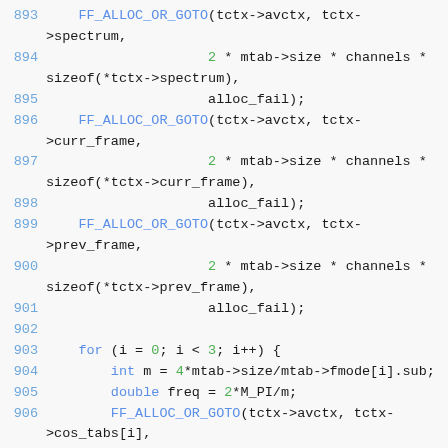[Figure (screenshot): Source code listing showing C code with line numbers 893-909, featuring FF_ALLOC_OR_GOTO calls and a for loop, syntax highlighted with blue line numbers, blue keywords, and green numeric literals.]